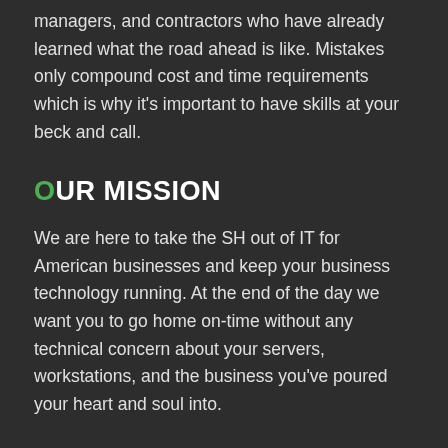managers, and contractors who have already learned what the road ahead is like. Mistakes only compound cost and time requirements which is why it's important to have skills at your beck and call.
OUR MISSION
We are here to take the SH out of IT for American businesses and keep your business technology running. At the end of the day we want you to go home on-time without any technical concern about your servers, workstations, and the business you've poured your heart and soul into.
OUR PROMISE
The problems you face wih your business are the problems we, as a team, face together. These are the problems which